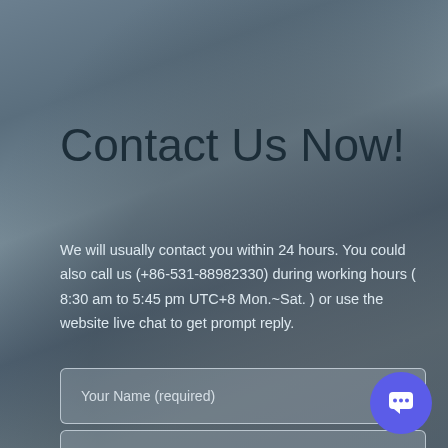Contact Us Now!
We will usually contact you within 24 hours. You could also call us (+86-531-88982330) during working hours ( 8:30 am to 5:45 pm UTC+8 Mon.~Sat. ) or use the website live chat to get prompt reply.
Your Name (required)
Your Email (required)